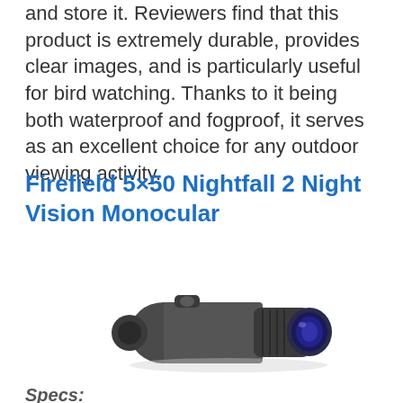and store it. Reviewers find that this product is extremely durable, provides clear images, and is particularly useful for bird watching. Thanks to it being both waterproof and fogproof, it serves as an excellent choice for any outdoor viewing activity.
Firefield 5×50 Nightfall 2 Night Vision Monocular
[Figure (photo): Photo of Firefield 5x50 Nightfall 2 Night Vision Monocular device, a dark grey/black handheld monocular with a large objective lens showing blue tint, photographed at an angle on white background.]
Specs: